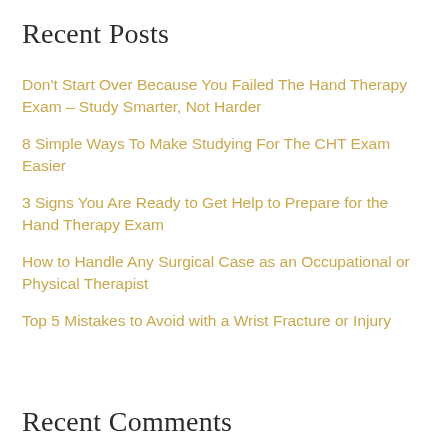Recent Posts
Don't Start Over Because You Failed The Hand Therapy Exam – Study Smarter, Not Harder
8 Simple Ways To Make Studying For The CHT Exam Easier
3 Signs You Are Ready to Get Help to Prepare for the Hand Therapy Exam
How to Handle Any Surgical Case as an Occupational or Physical Therapist
Top 5 Mistakes to Avoid with a Wrist Fracture or Injury
Recent Comments